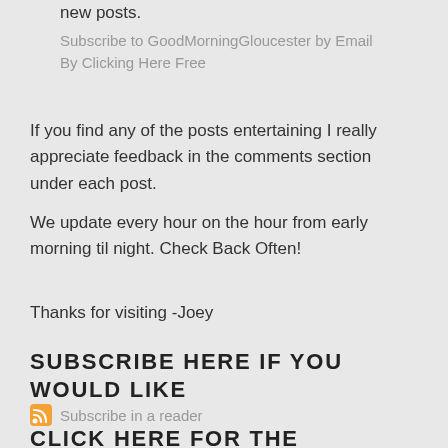new posts.
Subscribe to GoodMorningGloucester by Email By Clicking Here Free
If you find any of the posts entertaining I really appreciate feedback in the comments section under each post.
We update every hour on the hour from early morning til night. Check Back Often!
Thanks for visiting -Joey
SUBSCRIBE HERE IF YOU WOULD LIKE
Subscribe in a reader
CLICK HERE FOR THE ARCHIVES